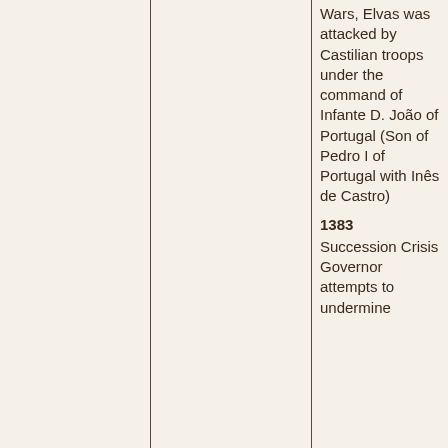|  |  | Wars, Elvas was attacked by Castilian troops under the command of Infante D. João of Portugal (Son of Pedro I of Portugal with Inês de Castro)

1383 Succession Crisis Governor attempts to undermine |